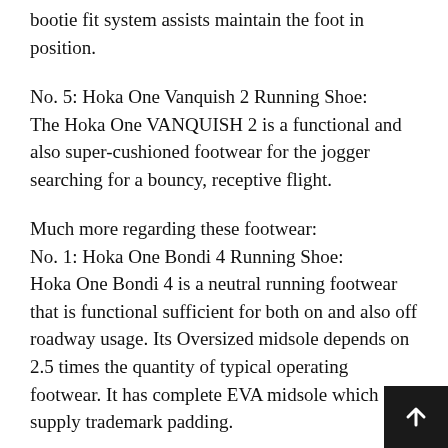bootie fit system assists maintain the foot in position.
No. 5: Hoka One Vanquish 2 Running Shoe:
The Hoka One VANQUISH 2 is a functional and also super-cushioned footwear for the jogger searching for a bouncy, receptive flight.
Much more regarding these footwear:
No. 1: Hoka One Bondi 4 Running Shoe:
Hoka One Bondi 4 is a neutral running footwear that is functional sufficient for both on and also off roadway usage. Its Oversized midsole depends on 2.5 times the quantity of typical operating footwear. It has complete EVA midsole which supply trademark padding.
No. 10: Altra Torin 2 Running Shoe:
Altra Torin 2 is a Mono-mesh running footwear including straightforward no-sew overlays atop streamlined system. Its foot form toe box permits y